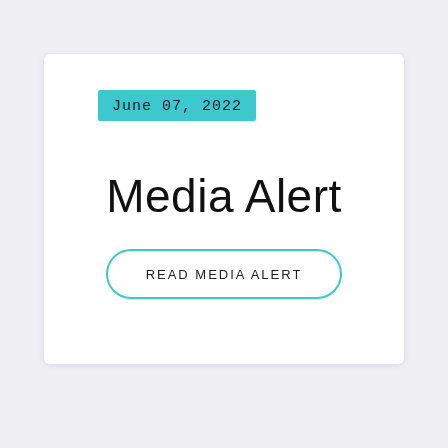June 07, 2022
Media Alert
READ MEDIA ALERT